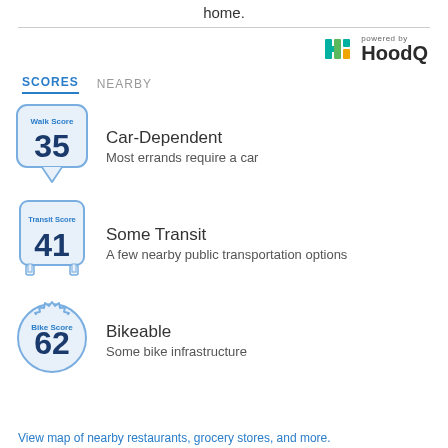home.
[Figure (logo): HoodQ powered by logo with colorful H icon]
SCORES   NEARBY
[Figure (infographic): Walk Score badge showing 35, Car-Dependent, Most errands require a car]
[Figure (infographic): Transit Score badge showing 41, Some Transit, A few nearby public transportation options]
[Figure (infographic): Bike Score badge showing 62, Bikeable, Some bike infrastructure]
View map of nearby restaurants, grocery stores, and more.